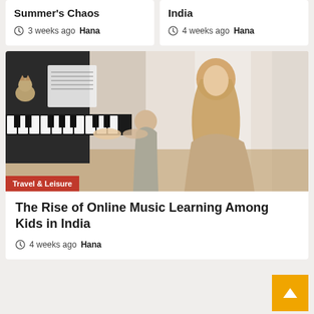Summer's Chaos
3 weeks ago  Hana
India
4 weeks ago  Hana
[Figure (photo): Woman with blonde hair sitting with a young child at a piano keyboard near a bright window. A cat is visible in the upper left. Category badge reads Travel & Leisure.]
The Rise of Online Music Learning Among Kids in India
4 weeks ago  Hana